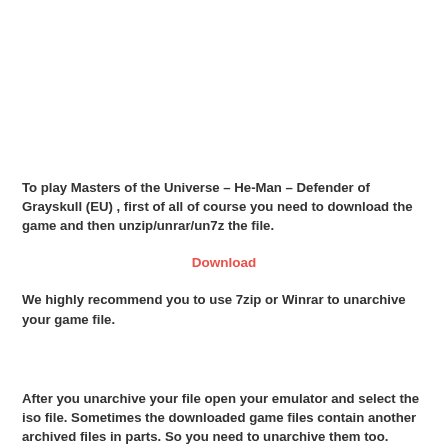To play Masters of the Universe – He-Man – Defender of Grayskull (EU) , first of all of course you need to download the game and then unzip/unrar/un7z the file.
Download
We highly recommend you to use 7zip or Winrar to unarchive your game file.
After you unarchive your file open your emulator and select the iso file. Sometimes the downloaded game files contain another archived files in parts. So you need to unarchive them too.